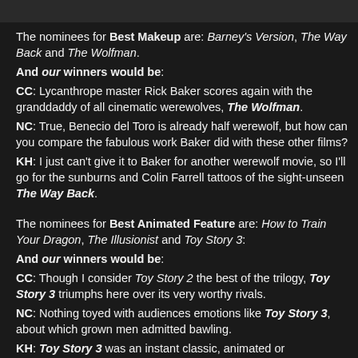[Figure (photo): Partial image bar at top of page, dark background]
The nominees for Best Makeup are: Barney's Version, The Way Back and The Wolfman.
And our winners would be:
CC: Lycanthrope master Rick Baker scores again with the granddaddy of all cinematic werewolves, The Wolfman.
NC: True, Benecio del Toro is already half werewolf, but how can you compare the fabulous work Baker did with these other films?
KH: I just can't give it to Baker for another werewolf movie, so I'll go for the sunburns and Colin Farrell tattoos of the sight-unseen The Way Back.
The nominees for Best Animated Feature are: How to Train Your Dragon, The Illusionist and Toy Story 3:
And our winners would be:
CC: Though I consider Toy Story 2 the best of the trilogy, Toy Story 3 triumphs here over its very worthy rivals.
NC: Nothing toyed with audiences emotions like Toy Story 3, about which grown men admitted bawling.
KH: Toy Story 3 was an instant classic, animated or